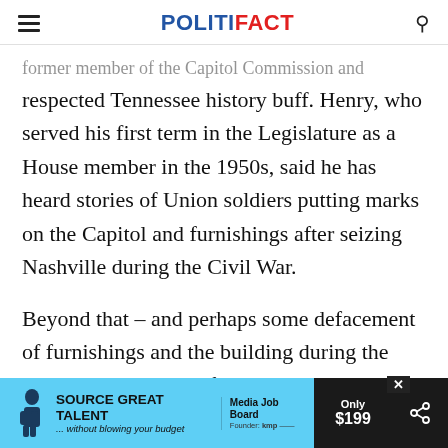POLITIFACT
former member of the Capitol Commission and respected Tennessee history buff. Henry, who served his first term in the Legislature as a House member in the 1950s, said he has heard stories of Union soldiers putting marks on the Capitol and furnishings after seizing Nashville during the Civil War.
Beyond that – and perhaps some defacement of furnishings and the building during the "tumultuous times" of the Reconstruction era – the ... carving ... or
[Figure (other): Advertisement banner: SOURCE GREAT TALENT ...without blowing your budget | Media Job Board | Only $199]